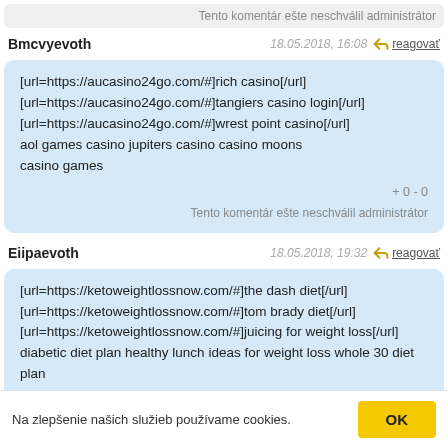Tento komentár ešte neschválil administrátor
Bmcvyevoth
18.05.2018, 16:08  reagovať
[url=https://aucasino24go.com/#]rich casino[/url]
[url=https://aucasino24go.com/#]tangiers casino login[/url]
[url=https://aucasino24go.com/#]wrest point casino[/url]
aol games casino jupiters casino casino moons
casino games
+0 - 0
Tento komentár ešte neschválil administrátor
Eiipaevoth
18.05.2018, 19:32  reagovať
[url=https://ketoweightlossnow.com/#]the dash diet[/url]
[url=https://ketoweightlossnow.com/#]tom brady diet[/url]
[url=https://ketoweightlossnow.com/#]juicing for weight loss[/url]
diabetic diet plan healthy lunch ideas for weight loss whole 30 diet plan
dr oz weight loss
+0 - 0
Na zlepšenie našich služieb používame cookies.